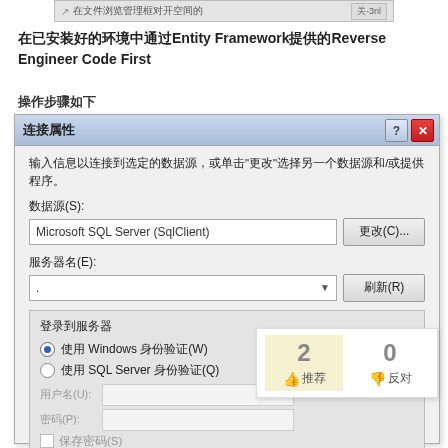[Figure (screenshot): Top browser tab strip showing a partial URL/page title]
在已安装好的环境中通过Entity Framework提供的Reverse Engineer Code First
操作步骤如下
[Figure (screenshot): Windows dialog box titled '连接属性' with fields for 数据源 (Microsoft SQL Server SqlClient), 服务器名, 登录到服务器section with Windows authentication radio selected, and username/password fields]
[Figure (infographic): Vote overlay showing 2 upvotes (推荐) and 0 downvotes (反对)]